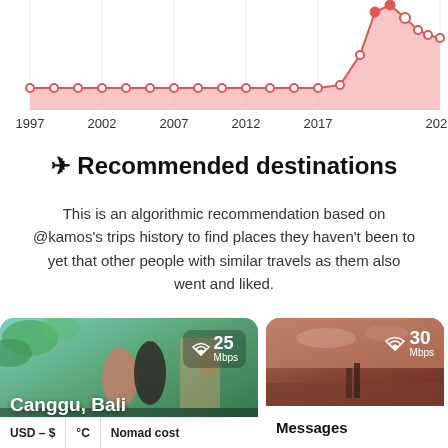[Figure (area-chart): Travel history area chart]
✈ Recommended destinations
This is an algorithmic recommendation based on @kamos's trips history to find places they haven't been to yet that other people with similar travels as them also went and liked.
[Figure (photo): Photo card for Canggu, Bali showing two people with 25 Mbps wifi badge]
[Figure (photo): Photo card showing desert/arid landscape with 30 Mbps wifi badge and Messages label]